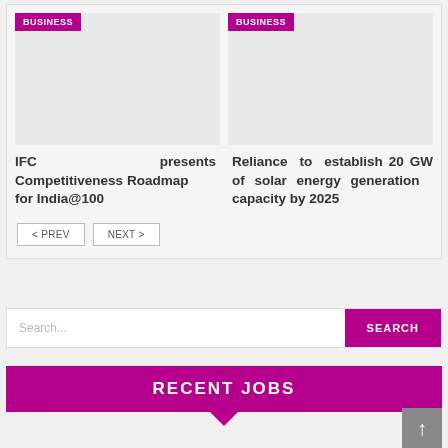[Figure (screenshot): News card image placeholder (light gray) with BUSINESS badge for IFC article]
IFC presents Competitiveness Roadmap for India@100
[Figure (screenshot): News card image placeholder (light gray) with BUSINESS badge for Reliance article]
Reliance to establish 20 GW of solar energy generation capacity by 2025
< PREV   NEXT >
Search...
RECENT JOBS